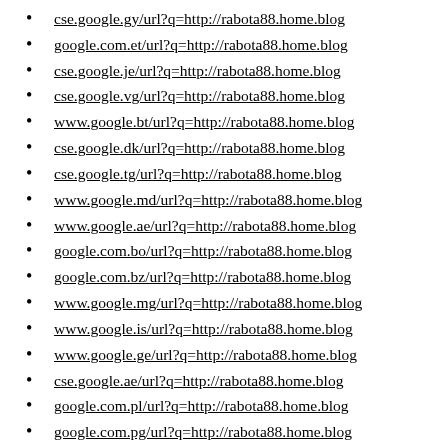cse.google.gy/url?q=http://rabota88.home.blog
google.com.et/url?q=http://rabota88.home.blog
cse.google.je/url?q=http://rabota88.home.blog
cse.google.vg/url?q=http://rabota88.home.blog
www.google.bt/url?q=http://rabota88.home.blog
cse.google.dk/url?q=http://rabota88.home.blog
cse.google.tg/url?q=http://rabota88.home.blog
www.google.md/url?q=http://rabota88.home.blog
www.google.ae/url?q=http://rabota88.home.blog
google.com.bo/url?q=http://rabota88.home.blog
google.com.bz/url?q=http://rabota88.home.blog
www.google.mg/url?q=http://rabota88.home.blog
www.google.is/url?q=http://rabota88.home.blog
www.google.ge/url?q=http://rabota88.home.blog
cse.google.ae/url?q=http://rabota88.home.blog
google.com.pl/url?q=http://rabota88.home.blog
google.com.pg/url?q=http://rabota88.home.blog
google.com.kw/url?q=http://rabota88.home.blog
google.com.sa/url?q=http://rabota88.home.blog